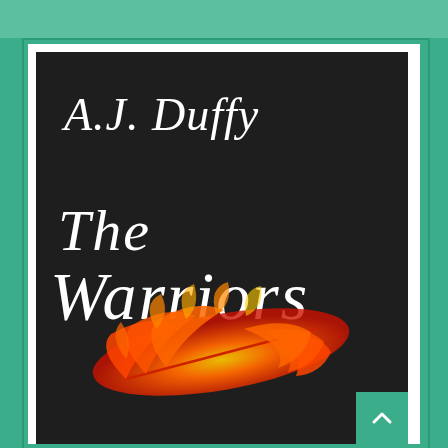[Figure (illustration): Book cover for 'The Warriors' by A.J. Duffy. Dark/black background with white italic serif text showing author name 'A.J. Duffy' at top and title 'The Warriors' below. A vivid red-orange feather is depicted in the lower center of the cover. The cover is framed by a teal/green border.]